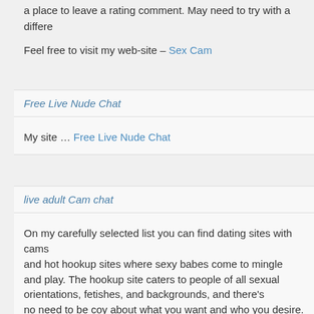a place to leave a rating comment. May need to try with a different…
Feel free to visit my web-site – Sex Cam
Free Live Nude Chat
My site … Free Live Nude Chat
live adult Cam chat
On my carefully selected list you can find dating sites with cams and hot hookup sites where sexy babes come to mingle and play. The hookup site caters to people of all sexual orientations, fetishes, and backgrounds, and there's no need to be coy about what you want and who you desire. Join the ImLive community of real cam girls performing sexy live full-filling fetishes, of all ages and races. Sit up as fast best cam girl ever. A sister site to Jasmin, MyCams is also one of the best free web models and users respectively. Other great perks of using MyCa…